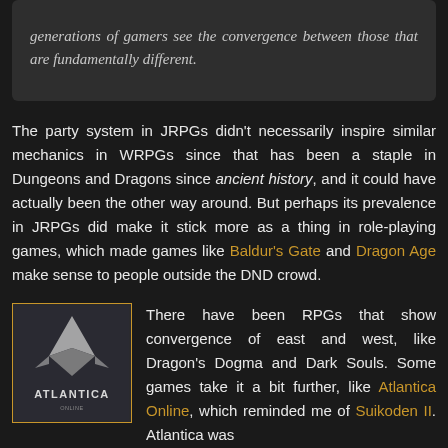generations of gamers see the convergence between those that are fundamentally different.
The party system in JRPGs didn't necessarily inspire similar mechanics in WRPGs since that has been a staple in Dungeons and Dragons since ancient history, and it could have actually been the other way around. But perhaps its prevalence in JRPGs did make it stick more as a thing in role-playing games, which made games like Baldur's Gate and Dragon Age make sense to people outside the DND crowd.
[Figure (logo): Atlantica Online game logo — silver/grey triangular symbol above the text 'ATLANTICA' in stylized font, on dark grey background with gold border]
There have been RPGs that show convergence of east and west, like Dragon's Dogma and Dark Souls. Some games take it a bit further, like Atlantica Online, which reminded me of Suikoden II. Atlantica was developed by NDOORS Corporation, a South Korean company, so it's not exactly western. But it does illustrate that the MMO boom during the 2000's paved the way for RPGs with